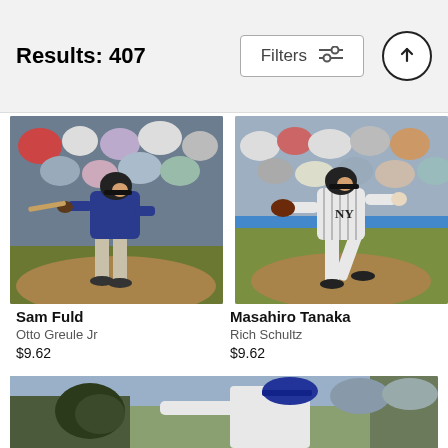Results: 407
[Figure (screenshot): Sam Fuld baseball player batting stance action photo]
Sam Fuld
Otto Greule Jr
$9.62
[Figure (screenshot): Masahiro Tanaka baseball pitcher in New York Yankees pinstripe uniform mid-pitch]
Masahiro Tanaka
Rich Schultz
$9.62
[Figure (photo): Baseball pitcher in white uniform mid-throw, partially visible at bottom of page]